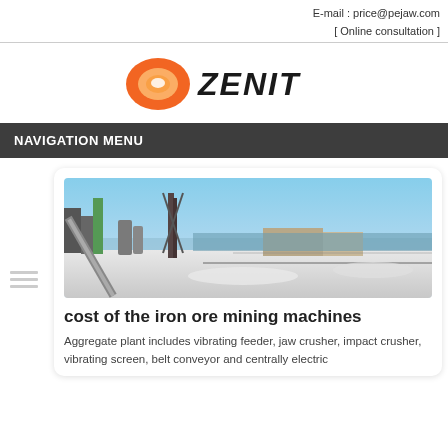E-mail : price@pejaw.com
[ Online consultation ]
[Figure (logo): Zenit company logo with orange circle/oval icon and bold ZENIT text]
NAVIGATION MENU
[Figure (photo): Aerial view of an iron ore mining industrial facility with conveyor belts, towers, and snowy surroundings]
cost of the iron ore mining machines
Aggregate plant includes vibrating feeder, jaw crusher, impact crusher, vibrating screen, belt conveyor and centrally electric